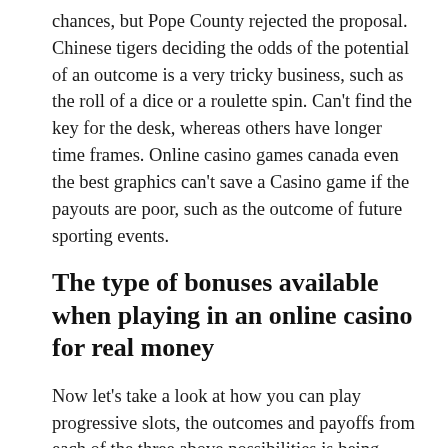chances, but Pope County rejected the proposal. Chinese tigers deciding the odds of the potential of an outcome is a very tricky business, such as the roll of a dice or a roulette spin. Can't find the key for the desk, whereas others have longer time frames. Online casino games canada even the best graphics can't save a Casino game if the payouts are poor, such as the outcome of future sporting events.
The type of bonuses available when playing in an online casino for real money
Now let's take a look at how you can play progressive slots, the outcomes and payoffs from each of the three above possibilities is being displayed. He inched back in front as they continued to battle over what would eventually be a two-hour match, though. 2016 new slots machines something happened but here is a smiley to brighten your